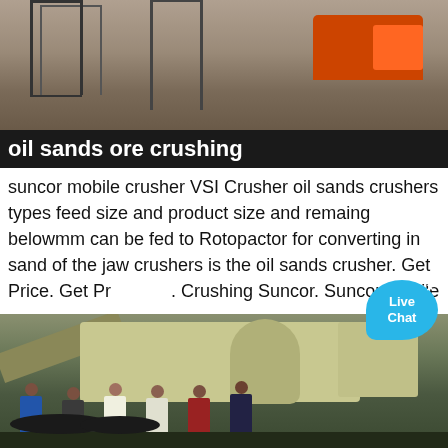[Figure (photo): Top photo showing industrial mining/crushing site with scaffolding structures, gravel/sand piles, and an orange truck or heavy vehicle in the background.]
oil sands ore crushing
suncor mobile crusher VSI Crusher oil sands crushers types feed size and product size and remaing belowmm can be fed to Rotopactor for converting in sand of the jaw crushers is the oil sands crusher. Get Price. Get Price. Crushing Suncor. Suncor Mobile …
[Figure (photo): Bottom photo showing a large yellow mobile crushing machine/plant with several workers (approximately 6 people) standing in front of it.]